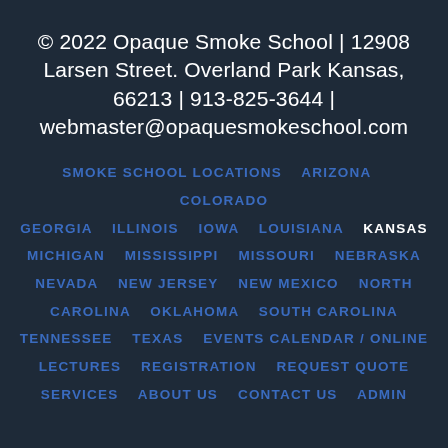© 2022 Opaque Smoke School | 12908 Larsen Street. Overland Park Kansas, 66213 | 913-825-3644 | webmaster@opaquesmokeschool.com
SMOKE SCHOOL LOCATIONS   ARIZONA   COLORADO   GEORGIA   ILLINOIS   IOWA   LOUISIANA   KANSAS   MICHIGAN   MISSISSIPPI   MISSOURI   NEBRASKA   NEVADA   NEW JERSEY   NEW MEXICO   NORTH CAROLINA   OKLAHOMA   SOUTH CAROLINA   TENNESSEE   TEXAS   EVENTS CALENDAR / ONLINE LECTURES   REGISTRATION   REQUEST QUOTE   SERVICES   ABOUT US   CONTACT US   ADMIN